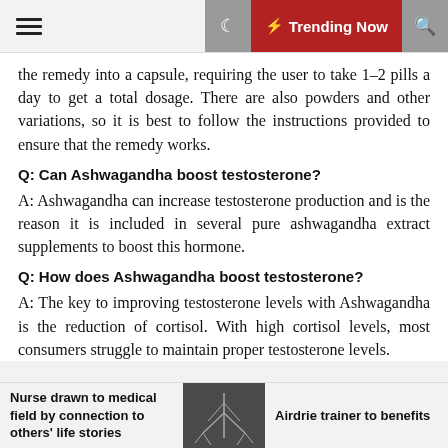≡  ☾  ⚡ Trending Now  🔍
the remedy into a capsule, requiring the user to take 1–2 pills a day to get a total dosage. There are also powders and other variations, so it is best to follow the instructions provided to ensure that the remedy works.
Q: Can Ashwagandha boost testosterone?
A: Ashwagandha can increase testosterone production and is the reason it is included in several pure ashwagandha extract supplements to boost this hormone.
Q: How does Ashwagandha boost testosterone?
A: The key to improving testosterone levels with Ashwagandha is the reduction of cortisol. With high cortisol levels, most consumers struggle to maintain proper testosterone levels.
Nurse drawn to medical field by connection to others' life stories  |  [image]  |  Airdrie trainer to benefits